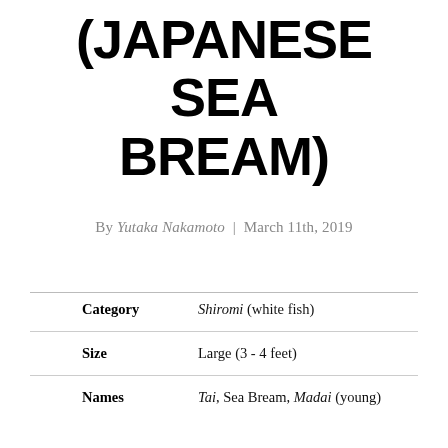(JAPANESE SEA BREAM)
By Yutaka Nakamoto | March 11th, 2019
| Category | Shiromi (white fish) |
| Size | Large (3 - 4 feet) |
| Names | Tai, Sea Bream, Madai (young) |